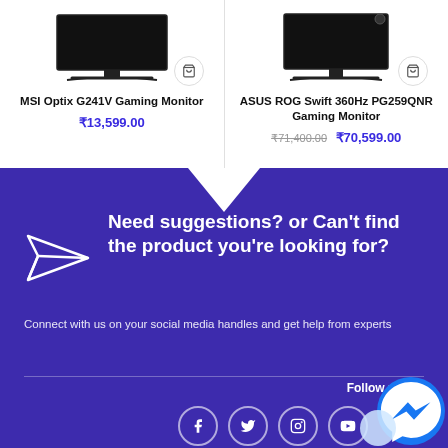MSI Optix G241V Gaming Monitor
₹13,599.00
ASUS ROG Swift 360Hz PG259QNR Gaming Monitor
₹71,400.00 ₹70,599.00
Need suggestions? or Can't find the product you're looking for?
Connect with us on your social media handles and get help from experts
Follow us on:
[Figure (illustration): Social media icons: Facebook, Twitter, Instagram, YouTube, Pinterest, and Messenger chat bubble]